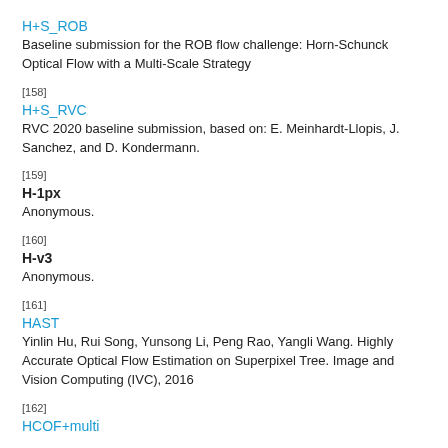H+S_ROB
Baseline submission for the ROB flow challenge: Horn-Schunck Optical Flow with a Multi-Scale Strategy
[158]
H+S_RVC
RVC 2020 baseline submission, based on: E. Meinhardt-Llopis, J. Sanchez, and D. Kondermann.
[159]
H-1px
Anonymous.
[160]
H-v3
Anonymous.
[161]
HAST
Yinlin Hu, Rui Song, Yunsong Li, Peng Rao, Yangli Wang. Highly Accurate Optical Flow Estimation on Superpixel Tree. Image and Vision Computing (IVC), 2016
[162]
HCOF+multi